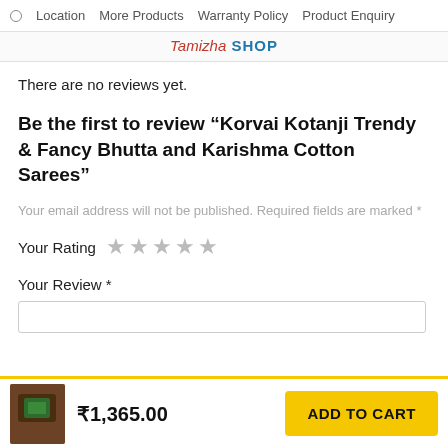o  Location  More Products  Warranty Policy  Product Enquiry
Tamizha SHOP
There are no reviews yet.
Be the first to review “Korvai Kotanji Trendy & Fancy Bhutta and Karishma Cotton Sarees”
Your email address will not be published. Required fields are marked *
Your Rating ★★★★★
Your Review *
₹1,365.00
ADD TO CART